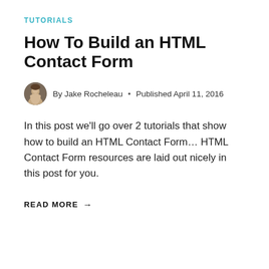TUTORIALS
How To Build an HTML Contact Form
By Jake Rocheleau • Published April 11, 2016
In this post we'll go over 2 tutorials that show how to build an HTML Contact Form... HTML Contact Form resources are laid out nicely in this post for you.
READ MORE →